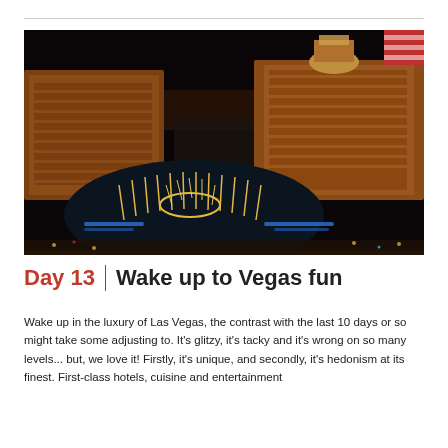[Figure (photo): Aerial night view of the Las Vegas Strip showing the Bellagio fountains lit up in gold and blue, large casino hotel buildings illuminated in warm golden light, and the colorful cityscape stretching into the distance.]
Day 13 | Wake up to Vegas fun
Wake up in the luxury of Las Vegas, the contrast with the last 10 days or so might take some adjusting to. It's glitzy, it's tacky and it's wrong on so many levels... but, we love it! Firstly, it's unique, and secondly, it's hedonism at its finest. First-class hotels, cuisine and entertainment